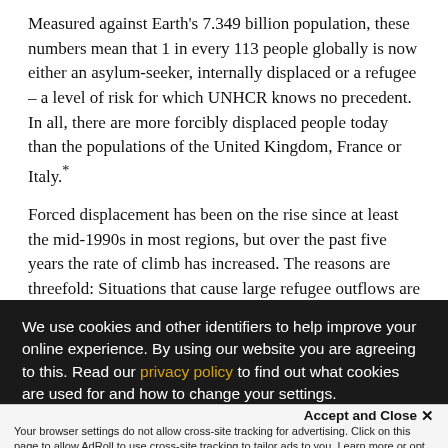Measured against Earth's 7.349 billion population, these numbers mean that 1 in every 113 people globally is now either an asylum-seeker, internally displaced or a refugee – a level of risk for which UNHCR knows no precedent. In all, there are more forcibly displaced people today than the populations of the United Kingdom, France or Italy.*
Forced displacement has been on the rise since at least the mid-1990s in most regions, but over the past five years the rate of climb has increased. The reasons are threefold: Situations that cause large refugee outflows are lasting longer (for example, conflicts in Somalia or Afghanistan are now into their third and fourth decades, respectively),
We use cookies and other identifiers to help improve your online experience. By using our website you are agreeing to this. Read our privacy policy to find out what cookies are used for and how to change your settings.
Accept and Close ×
Your browser settings do not allow cross-site tracking for advertising. Click on this page to allow AdRoll to use cross-site tracking to tailor ads to you. Learn more or opt out of this AdRoll tracking by clicking here. This message only appears once.